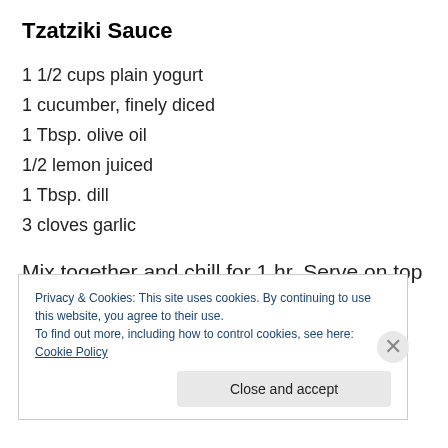Tzatziki Sauce
1 1/2 cups plain yogurt
1 cucumber, finely diced
1 Tbsp. olive oil
1/2 lemon juiced
1 Tbsp. dill
3 cloves garlic
Mix together and chill for 1 hr. Serve on top of lamb burgers.
Privacy & Cookies: This site uses cookies. By continuing to use this website, you agree to their use.
To find out more, including how to control cookies, see here: Cookie Policy